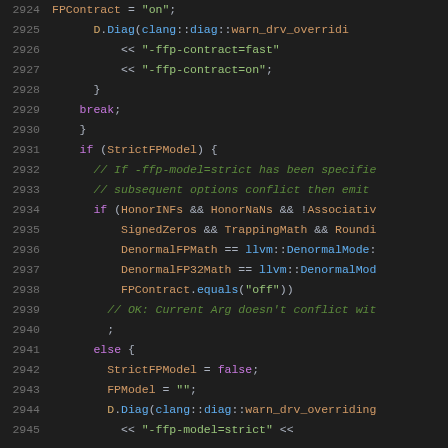[Figure (screenshot): Source code listing in a dark-themed code editor showing C++ code lines 2924-2945 dealing with FP contract and strict FP model handling, using syntax highlighting with purple keywords, blue identifiers, green strings, and green comments.]